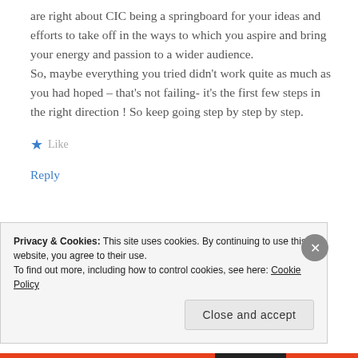are right about CIC being a springboard for your ideas and efforts to take off in the ways to which you aspire and bring your energy and passion to a wider audience.
So, maybe everything you tried didn't work quite as much as you had hoped – that's not failing- it's the first few steps in the right direction ! So keep going step by step by step.
★ Like
Reply
Privacy & Cookies: This site uses cookies. By continuing to use this website, you agree to their use.
To find out more, including how to control cookies, see here: Cookie Policy
Close and accept